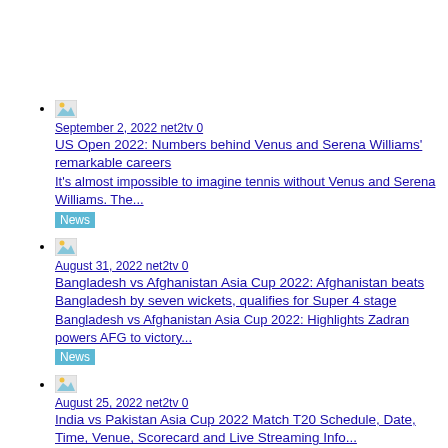September 2, 2022 net2tv 0
US Open 2022: Numbers behind Venus and Serena Williams' remarkable careers
It's almost impossible to imagine tennis without Venus and Serena Williams. The...
News
August 31, 2022 net2tv 0
Bangladesh vs Afghanistan Asia Cup 2022: Afghanistan beats Bangladesh by seven wickets, qualifies for Super 4 stage
Bangladesh vs Afghanistan Asia Cup 2022: Highlights Zadran powers AFG to victory...
News
August 25, 2022 net2tv 0
India vs Pakistan Asia Cup 2022 Match T20 Schedule, Date, Time, Venue, Scorecard and Live Streaming Info...